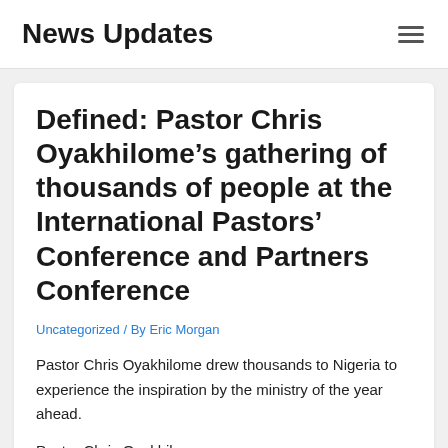News Updates
Defined: Pastor Chris Oyakhilome’s gathering of thousands of people at the International Pastors’ Conference and Partners Conference
Uncategorized / By Eric Morgan
Pastor Chris Oyakhilome drew thousands to Nigeria to experience the inspiration by the ministry of the year ahead.
Pastor Chris Oyakhilome thought the year ahead.